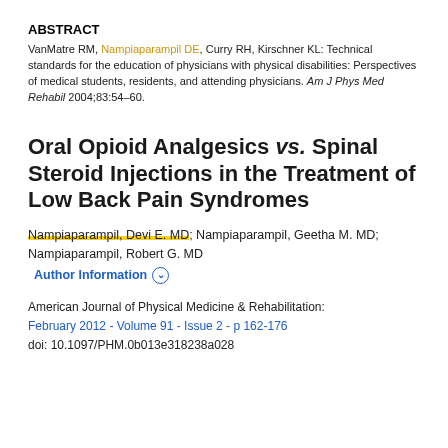ABSTRACT
VanMatre RM, Nampiaparampil DE, Curry RH, Kirschner KL: Technical standards for the education of physicians with physical disabilities: Perspectives of medical students, residents, and attending physicians. Am J Phys Med Rehabil 2004;83:54–60.
Oral Opioid Analgesics vs. Spinal Steroid Injections in the Treatment of Low Back Pain Syndromes
Nampiaparampil, Devi E. MD; Nampiaparampil, Geetha M. MD; Nampiaparampil, Robert G. MD
Author Information
American Journal of Physical Medicine & Rehabilitation:
February 2012 - Volume 91 - Issue 2 - p 162-176
doi: 10.1097/PHM.0b013e318238a028